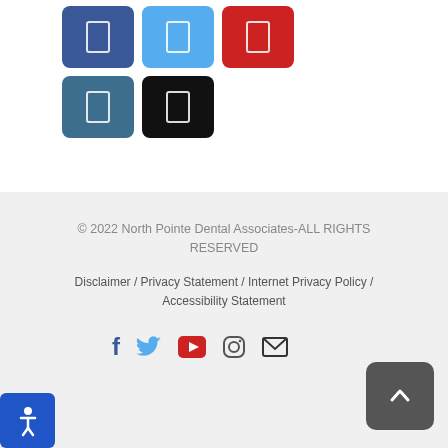[Figure (other): Five social media share buttons in two rows: Facebook (blue), Twitter (light blue), YouTube (red) in top row; LinkedIn (steel blue), one black button in second row. Each button is a rounded rectangle with a small white icon.]
© 2022 North Pointe Dental Associates-ALL RIGHTS RESERVED
Disclaimer / Privacy Statement / Internet Privacy Policy / Accessibility Statement
[Figure (other): Footer social icons row: Facebook (f), Twitter bird, YouTube play button, Instagram camera outline, Email envelope. Plus a dark grey scroll-to-top button with upward chevron on the right.]
[Figure (other): Accessibility button in bottom-left corner: blue rounded square with wheelchair user icon.]